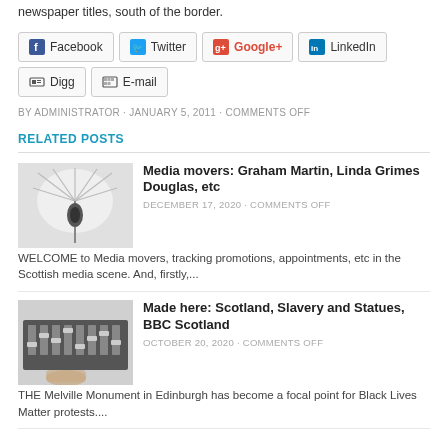newspaper titles, south of the border.
[Figure (screenshot): Social share buttons: Facebook, Twitter, Google+, LinkedIn, Digg, E-mail]
BY ADMINISTRATOR · JANUARY 5, 2011 · COMMENTS OFF
RELATED POSTS
[Figure (photo): Photo of a microphone with umbrella light]
Media movers: Graham Martin, Linda Grimes Douglas, etc
DECEMBER 17, 2020 · COMMENTS OFF
WELCOME to Media movers, tracking promotions, appointments, etc in the Scottish media scene. And, firstly,...
[Figure (photo): Photo of a mixing console / audio equipment]
Made here: Scotland, Slavery and Statues, BBC Scotland
OCTOBER 20, 2020 · COMMENTS OFF
THE Melville Monument in Edinburgh has become a focal point for Black Lives Matter protests....